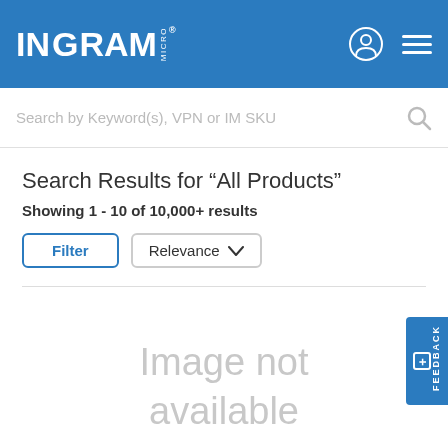INGRAM MICRO
Search by Keyword(s), VPN or IM SKU
Search Results for “All Products”
Showing 1 - 10 of 10,000+ results
Filter | Relevance
[Figure (screenshot): Image not available placeholder area]
Image not available